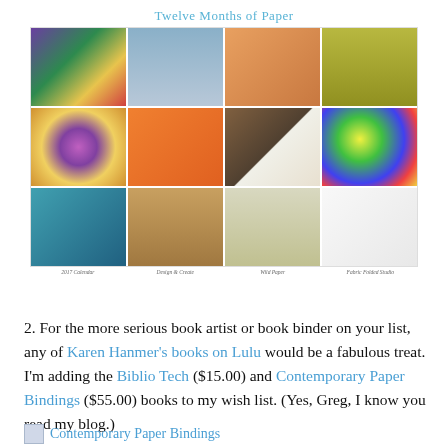[Figure (photo): Grid of 12 paper craft photos titled 'Twelve Months of Paper'. Four columns, three rows showing: colorful star, blue heart, orange box, patterned card; spiral/pinwheel, orange accordion vase, striped book, colorful ball; accordion photo book, kraft paper book, leaf skeleton, white box. Labels at bottom: 2017 Calendar, Design & Create, Wild Paper, Fabric Folded Studio.]
2. For the more serious book artist or book binder on your list, any of Karen Hanmer's books on Lulu would be a fabulous treat. I'm adding the Biblio Tech ($15.00) and Contemporary Paper Bindings ($55.00) books to my wish list. (Yes, Greg, I know you read my blog.)
Contemporary Paper Bindings